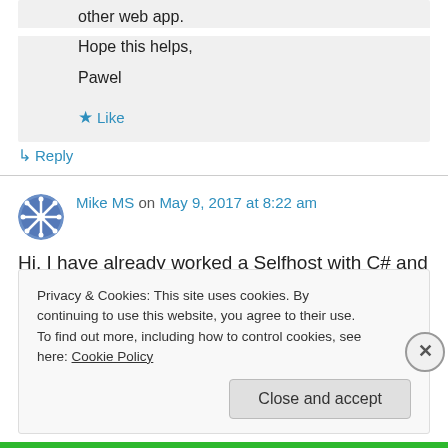other web app.
Hope this helps,
Pawel
★ Like
↳ Reply
Mike MS on May 9, 2017 at 8:22 am
Hi, I have already worked a Selfhost with C# and
Privacy & Cookies: This site uses cookies. By continuing to use this website, you agree to their use.
To find out more, including how to control cookies, see here: Cookie Policy
Close and accept